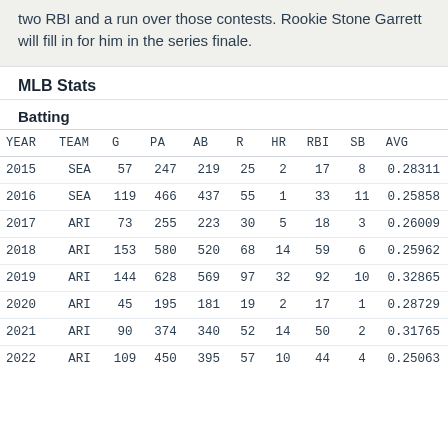two RBI and a run over those contests. Rookie Stone Garrett will fill in for him in the series finale.
MLB Stats
Batting
| YEAR | TEAM | G | PA | AB | R | HR | RBI | SB | AVG |
| --- | --- | --- | --- | --- | --- | --- | --- | --- | --- |
| 2015 | SEA | 57 | 247 | 219 | 25 | 2 | 17 | 8 | 0.28311 |
| 2016 | SEA | 119 | 466 | 437 | 55 | 1 | 33 | 11 | 0.25858 |
| 2017 | ARI | 73 | 255 | 223 | 30 | 5 | 18 | 3 | 0.26009 |
| 2018 | ARI | 153 | 580 | 520 | 68 | 14 | 59 | 6 | 0.25962 |
| 2019 | ARI | 144 | 628 | 569 | 97 | 32 | 92 | 10 | 0.32865 |
| 2020 | ARI | 45 | 195 | 181 | 19 | 2 | 17 | 1 | 0.28729 |
| 2021 | ARI | 90 | 374 | 340 | 52 | 14 | 50 | 2 | 0.31765 |
| 2022 | ARI | 109 | 450 | 395 | 57 | 10 | 44 | 4 | 0.25063 |